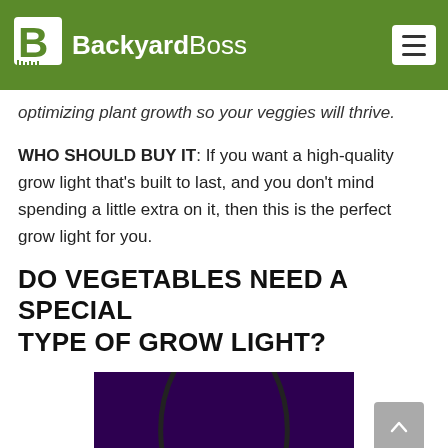BackyardBoss
optimizing plant growth so your veggies will thrive.
WHO SHOULD BUY IT: If you want a high-quality grow light that's built to last, and you don't mind spending a little extra on it, then this is the perfect grow light for you.
DO VEGETABLES NEED A SPECIAL TYPE OF GROW LIGHT?
[Figure (photo): Two curved-neck LED grow lights glowing purple/pink against a dark purple background, reflected on a surface below.]